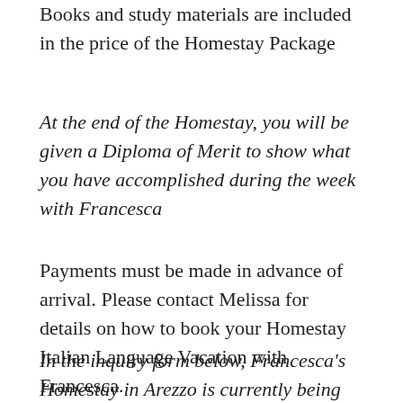Books and study materials are included in the price of the Homestay Package
At the end of the Homestay, you will be given a Diploma of Merit to show what you have accomplished during the week with Francesca
Payments must be made in advance of arrival. Please contact Melissa for details on how to book your Homestay Italian Language Vacation with Francesca.
In the inquiry form below, Francesca's Homestay in Arezzo is currently being added. If you wish to know more about the program please add a message in the